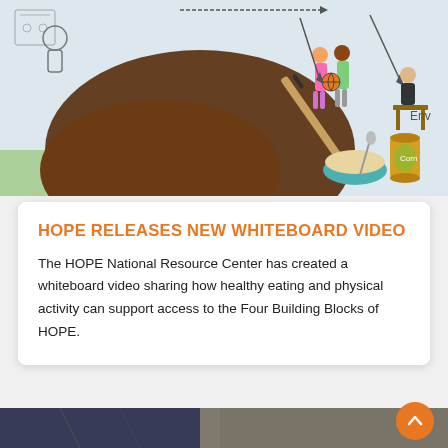[Figure (illustration): A hand holding a pen drawing on a whiteboard with illustrated characters including two children holding a basketball, a bowl of food, a can of corn, a person sitting at a table eating, and the word 'ement' visible (part of 'environment' or similar). The scene depicts a whiteboard animation about healthy eating and physical activity.]
HOPE RELEASES NEW WHITEBOARD VIDEO
The HOPE National Resource Center has created a whiteboard video sharing how healthy eating and physical activity can support access to the Four Building Blocks of HOPE.
[Figure (photo): Bottom portion of a photo showing people sitting, partially visible. An orange circular scroll-to-top button with an upward chevron is visible in the lower right corner.]